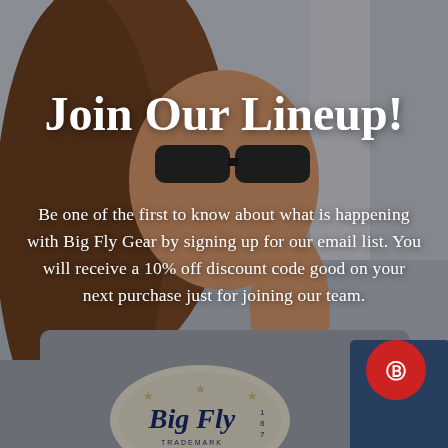[Figure (photo): Background photo of a woman wearing a grey Big Fly branded sweatshirt and sunglasses, smiling, with a Big Fly logo visible on the shirt.]
Join Our Lineup!
Be one of the first to know about what is happening with Big Fly Gear by signing up for our email list. You will receive a 10% off discount code good on your next purchase just for joining our team.
[Figure (logo): Red circular badge with a Big Fly Gear logo/icon in the bottom right corner.]